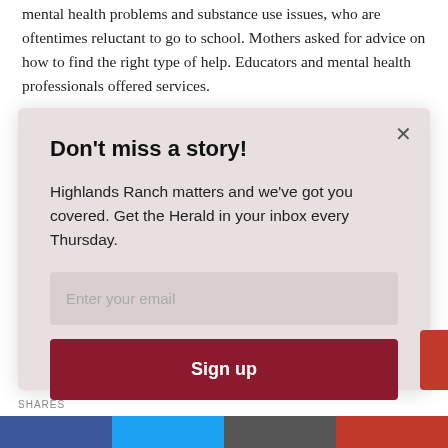mental health problems and substance use issues, who are oftentimes reluctant to go to school. Mothers asked for advice on how to find the right type of help. Educators and mental health professionals offered services.
The audience was left with feelings of connectedness and
[Figure (screenshot): Email newsletter signup modal overlay with title 'Don't miss a story!', body text about Highlands Ranch Herald, email input field, and Sign up button]